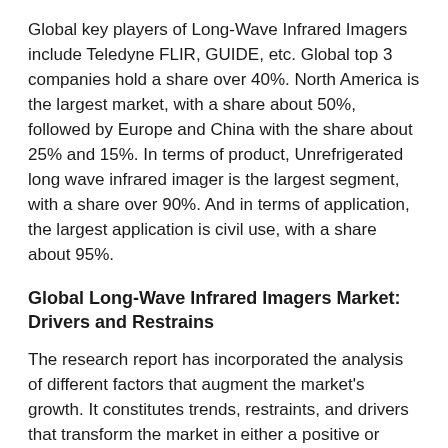Global key players of Long-Wave Infrared Imagers include Teledyne FLIR, GUIDE, etc. Global top 3 companies hold a share over 40%. North America is the largest market, with a share about 50%, followed by Europe and China with the share about 25% and 15%. In terms of product, Unrefrigerated long wave infrared imager is the largest segment, with a share over 90%. And in terms of application, the largest application is civil use, with a share about 95%.
Global Long-Wave Infrared Imagers Market: Drivers and Restrains
The research report has incorporated the analysis of different factors that augment the market's growth. It constitutes trends, restraints, and drivers that transform the market in either a positive or negative manner. This section also provides the scope of different segments and applications that can potentially influence the market in the future. The detailed information is based on current trends and historic milestones. This section also provides an analysis of the volume of production about the global market and about each type from 2016 to 2027. This section mentions the